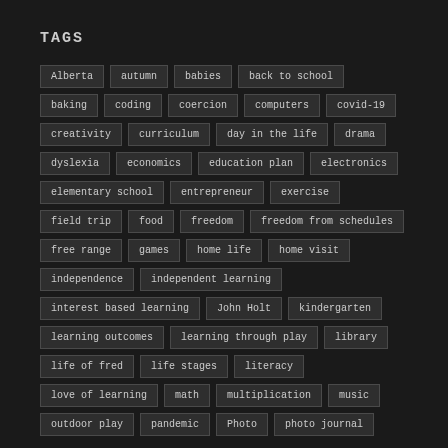TAGS
Alberta
autumn
babies
back to school
baking
coding
coercion
computers
covid-19
creativity
curriculum
day in the life
drama
dyslexia
economics
education plan
electronics
elementary school
entrepreneur
exercise
field trip
food
freedom
freedom from schedules
free range
games
home life
home visit
independence
independent learning
interest based learning
John Holt
kindergarten
learning outcomes
learning through play
library
life of fred
life stages
literacy
love of learning
math
multiplication
music
outdoor play
pandemic
Photo
photo journal